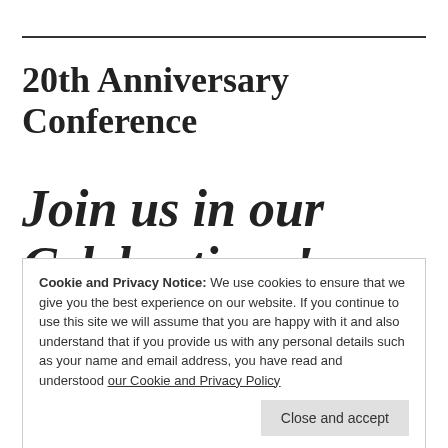20th Anniversary Conference
Join us in our Celebrations!
Cookie and Privacy Notice: We use cookies to ensure that we give you the best experience on our website. If you continue to use this site we will assume that you are happy with it and also understand that if you provide us with any personal details such as your name and email address, you have read and understood our Cookie and Privacy Policy
where we have held our conferences for a number